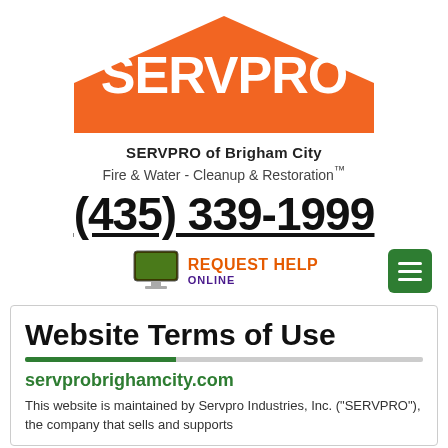[Figure (logo): SERVPRO logo with orange house/roof shape and white SERVPRO text inside]
SERVPRO of Brigham City
Fire & Water - Cleanup & Restoration™
(435) 339-1999
[Figure (infographic): REQUEST HELP ONLINE button with monitor icon and hamburger menu button]
Website Terms of Use
servprobrighamcity.com
This website is maintained by Servpro Industries, Inc. ("SERVPRO"), the company that sells and supports